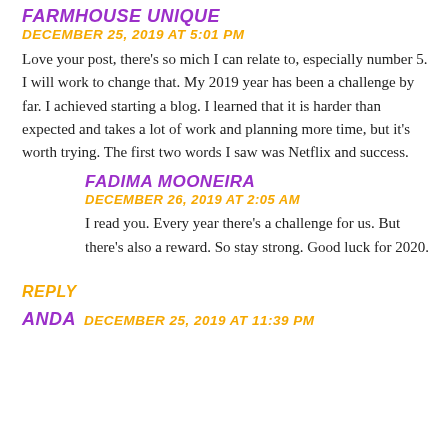Farmhouse Unique
December 25, 2019 at 5:01 PM
Love your post, there's so mich I can relate to, especially number 5. I will work to change that. My 2019 year has been a challenge by far. I achieved starting a blog. I learned that it is harder than expected and takes a lot of work and planning more time, but it's worth trying. The first two words I saw was Netflix and success.
Fadima Mooneira
December 26, 2019 at 2:05 AM
I read you. Every year there's a challenge for us. But there's also a reward. So stay strong. Good luck for 2020.
REPLY
ANDA  December 25, 2019 at 11:39 PM